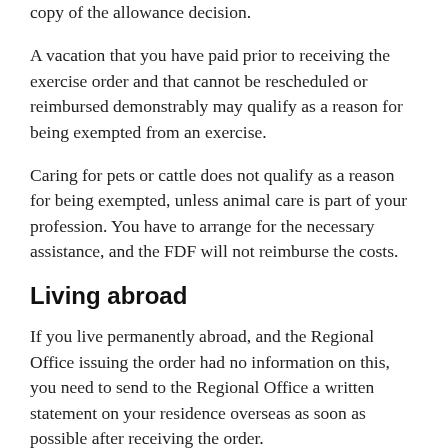copy of the allowance decision.
A vacation that you have paid prior to receiving the exercise order and that cannot be rescheduled or reimbursed demonstrably may qualify as a reason for being exempted from an exercise.
Caring for pets or cattle does not qualify as a reason for being exempted, unless animal care is part of your profession. You have to arrange for the necessary assistance, and the FDF will not reimburse the costs.
Living abroad
If you live permanently abroad, and the Regional Office issuing the order had no information on this, you need to send to the Regional Office a written statement on your residence overseas as soon as possible after receiving the order.
The statement must specify